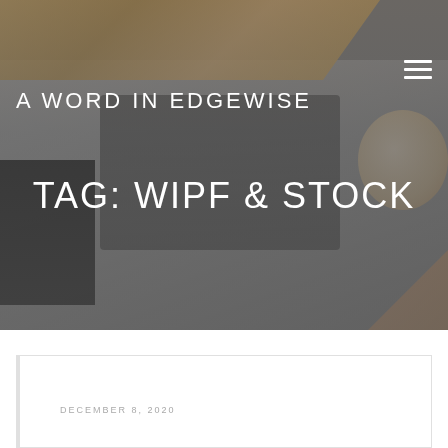[Figure (photo): Hero banner image: person holding ancient manuscript/papyrus top left, laptop computer on desk in center, black notebook and pencil on left, coffee cup and hand on right. Gray toned background with dark overlay.]
A WORD IN EDGEWISE
TAG: WIPF & STOCK
DECEMBER 8, 2020